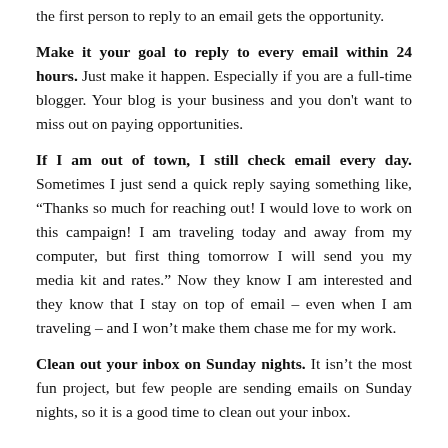the first person to reply to an email gets the opportunity.
Make it your goal to reply to every email within 24 hours. Just make it happen. Especially if you are a full-time blogger. Your blog is your business and you don't want to miss out on paying opportunities.
If I am out of town, I still check email every day. Sometimes I just send a quick reply saying something like, “Thanks so much for reaching out! I would love to work on this campaign! I am traveling today and away from my computer, but first thing tomorrow I will send you my media kit and rates.” Now they know I am interested and they know that I stay on top of email – even when I am traveling – and I won’t make them chase me for my work.
Clean out your inbox on Sunday nights. It isn’t the most fun project, but few people are sending emails on Sunday nights, so it is a good time to clean out your inbox.